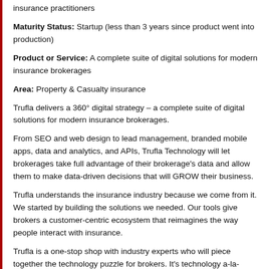insurance practitioners
Maturity Status: Startup (less than 3 years since product went into production)
Product or Service: A complete suite of digital solutions for modern insurance brokerages
Area: Property & Casualty insurance
Trufla delivers a 360° digital strategy – a complete suite of digital solutions for modern insurance brokerages.
From SEO and web design to lead management, branded mobile apps, data and analytics, and APIs, Trufla Technology will let brokerages take full advantage of their brokerage's data and allow them to make data-driven decisions that will GROW their business.
Trufla understands the insurance industry because we come from it. We started by building the solutions we needed. Our tools give brokers a customer-centric ecosystem that reimagines the way people interact with insurance.
Trufla is a one-stop shop with industry experts who will piece together the technology puzzle for brokers. It's technology a-la-carte. Brokerages can pick and choose the tools they need now, with the ultimate flexibility of being able to add to them later. Total flexibility to t...